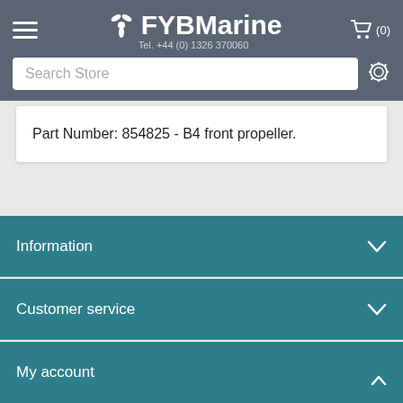FYBMarine Tel. +44 (0) 1326 370060
Part Number: 854825 - B4 front propeller.
Information
Customer service
My account